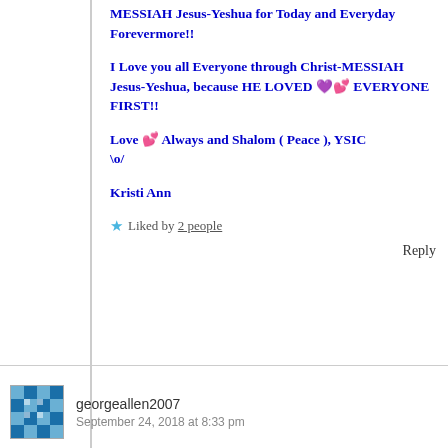MESSIAH Jesus-Yeshua for Today and Everyday Forevermore!!
I Love you all Everyone through Christ-MESSIAH Jesus-Yeshua, because HE LOVED 💜💕 EVERYONE FIRST!!
Love 💕 Always and Shalom ( Peace ), YSIC \o/
Kristi Ann
★ Liked by 2 people
Reply
georgeallen2007
September 24, 2018 at 8:33 pm